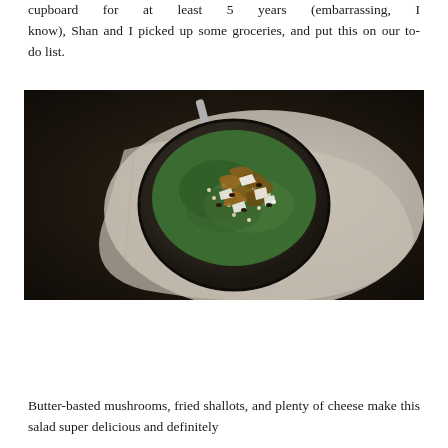cupboard for at least 5 years (embarrassing, I know), Shan and I picked up some groceries, and put this on our to-do list.
[Figure (photo): Overhead view of a dark bowl filled with a grain salad topped with fried shallots and white cheese flakes, placed on a linen napkin with a fork, on a dark wooden surface.]
Butter-basted mushrooms, fried shallots, and plenty of cheese make this salad super delicious and definitely